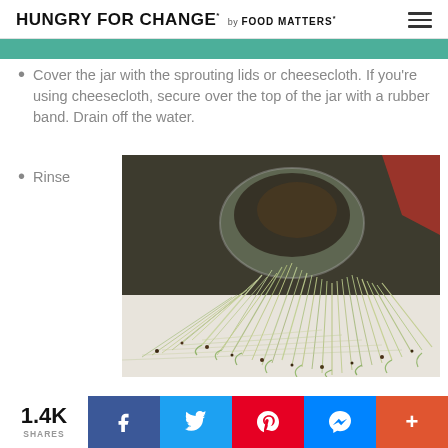HUNGRY FOR CHANGE* by FOOD MATTERS*
Cover the jar with the sprouting lids or cheesecloth. If you're using cheesecloth, secure over the top of the jar with a rubber band. Drain off the water.
Rinse
[Figure (photo): A glass jar tipped on its side with sprouted seeds (alfalfa sprouts) spilling out onto a white surface]
1.4K SHARES | Facebook | Twitter | Pinterest | Messenger | More